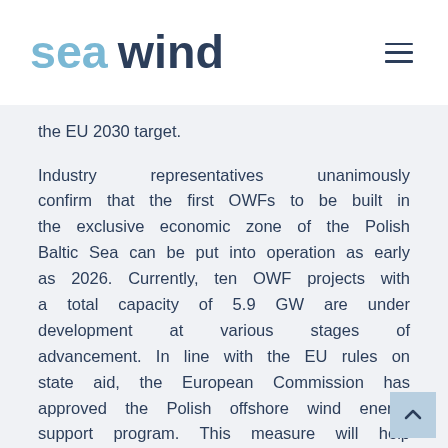seawind
the EU 2030 target.
Industry representatives unanimously confirm that the first OWFs to be built in the exclusive economic zone of the Polish Baltic Sea can be put into operation as early as 2026. Currently, ten OWF projects with a total capacity of 5.9 GW are under development at various stages of advancement. In line with the EU rules on state aid, the European Commission has approved the Polish offshore wind energy support program. This measure will help Poland meet its renewable energy targets without unduly distorting competition. The